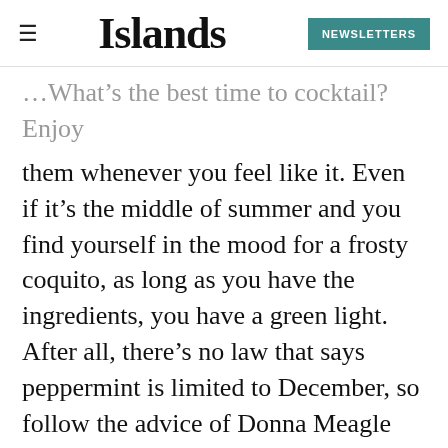Islands | NEWSLETTERS
What's the best time to cocktail? Enjoy them whenever you feel like it. Even if it's the middle of summer and you find yourself in the mood for a frosty coquito, as long as you have the ingredients, you have a green light. After all, there's no law that says peppermint is limited to December, so follow the advice of Donna Meagle and treat yo' self.
We had so many wonderful, delicious holiday cocktails to choose from this year, but we certainly didn't have enough time